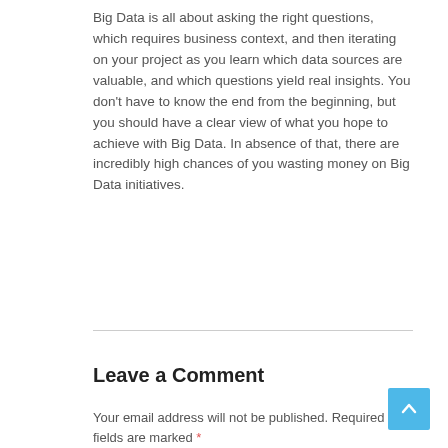Big Data is all about asking the right questions, which requires business context, and then iterating on your project as you learn which data sources are valuable, and which questions yield real insights. You don't have to know the end from the beginning, but you should have a clear view of what you hope to achieve with Big Data. In absence of that, there are incredibly high chances of you wasting money on Big Data initiatives.
Leave a Comment
Your email address will not be published. Required fields are marked *